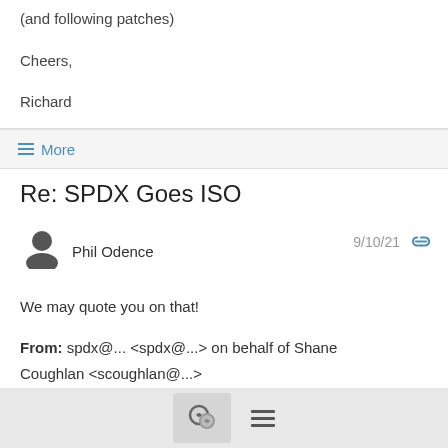(and following patches)
Cheers,
Richard
≡ More
Re: SPDX Goes ISO
Phil Odence  9/10/21
We may quote you on that!
From: spdx@... <spdx@...> on behalf of Shane Coughlan <scoughlan@...>
Date: Thursday, September 9, 2021 at 9:16 PM
To: spdx@... <spdx@...>